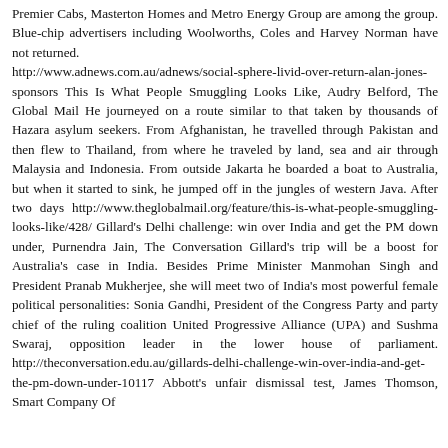Premier Cabs, Masterton Homes and Metro Energy Group are among the group. Blue-chip advertisers including Woolworths, Coles and Harvey Norman have not returned. http://www.adnews.com.au/adnews/social-sphere-livid-over-return-alan-jones-sponsors This Is What People Smuggling Looks Like, Audry Belford, The Global Mail He journeyed on a route similar to that taken by thousands of Hazara asylum seekers. From Afghanistan, he travelled through Pakistan and then flew to Thailand, from where he traveled by land, sea and air through Malaysia and Indonesia. From outside Jakarta he boarded a boat to Australia, but when it started to sink, he jumped off in the jungles of western Java. After two days http://www.theglobalmail.org/feature/this-is-what-people-smuggling-looks-like/428/ Gillard's Delhi challenge: win over India and get the PM down under, Purnendra Jain, The Conversation Gillard's trip will be a boost for Australia's case in India. Besides Prime Minister Manmohan Singh and President Pranab Mukherjee, she will meet two of India's most powerful female political personalities: Sonia Gandhi, President of the Congress Party and party chief of the ruling coalition United Progressive Alliance (UPA) and Sushma Swaraj, opposition leader in the lower house of parliament. http://theconversation.edu.au/gillards-delhi-challenge-win-over-india-and-get-the-pm-down-under-10117 Abbott's unfair dismissal test, James Thomson, Smart Company Of